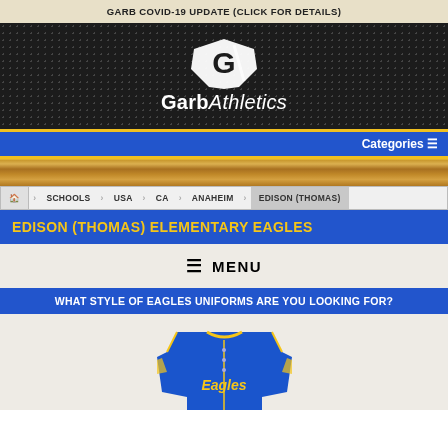GARB COVID-19 UPDATE (CLICK FOR DETAILS)
[Figure (logo): Garb Athletics logo — stylized 'G' emblem over dark perforated background with 'GarbAthletics' text below]
Categories ≡
[Figure (photo): Wood texture horizontal bar]
🏠 SCHOOLS USA CA ANAHEIM EDISON (THOMAS)
EDISON (THOMAS) ELEMENTARY EAGLES
≡  MENU
WHAT STYLE OF EAGLES UNIFORMS ARE YOU LOOKING FOR?
[Figure (photo): Blue and gold Eagles baseball jersey displayed on mannequin]